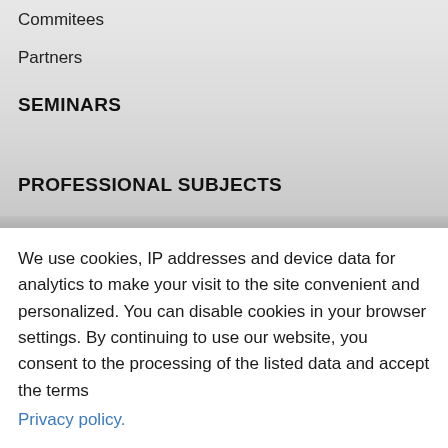Commitees
Partners
SEMINARS
PROFESSIONAL SUBJECTS
We use cookies, IP addresses and device data for analytics to make your visit to the site convenient and personalized. You can disable cookies in your browser settings. By continuing to use our website, you consent to the processing of the listed data and accept the terms Privacy policy.
Got it